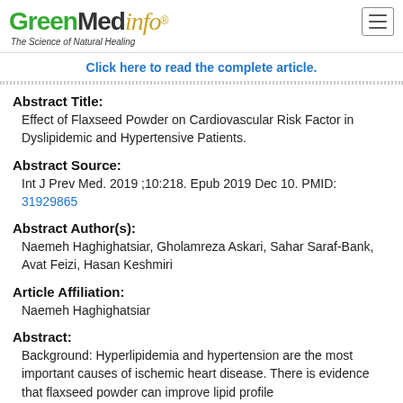GreenMedinfo - The Science of Natural Healing
Click here to read the complete article.
Abstract Title:
Effect of Flaxseed Powder on Cardiovascular Risk Factor in Dyslipidemic and Hypertensive Patients.
Abstract Source:
Int J Prev Med. 2019 ;10:218. Epub 2019 Dec 10. PMID: 31929865
Abstract Author(s):
Naemeh Haghighatsiar, Gholamreza Askari, Sahar Saraf-Bank, Avat Feizi, Hasan Keshmiri
Article Affiliation:
Naemeh Haghighatsiar
Abstract:
Background: Hyperlipidemia and hypertension are the most important causes of ischemic heart disease. There is evidence that flaxseed powder can improve lipid profile